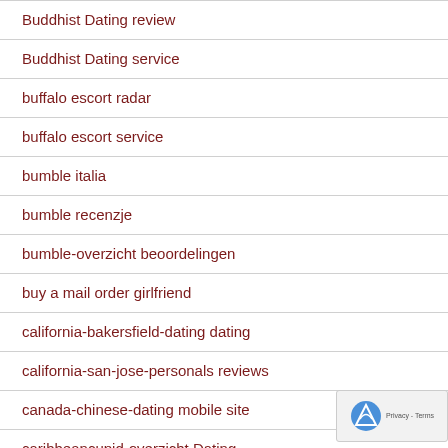Buddhist Dating review
Buddhist Dating service
buffalo escort radar
buffalo escort service
bumble italia
bumble recenzje
bumble-overzicht beoordelingen
buy a mail order girlfriend
california-bakersfield-dating dating
california-san-jose-personals reviews
canada-chinese-dating mobile site
caribbeancupid-overzicht Dating